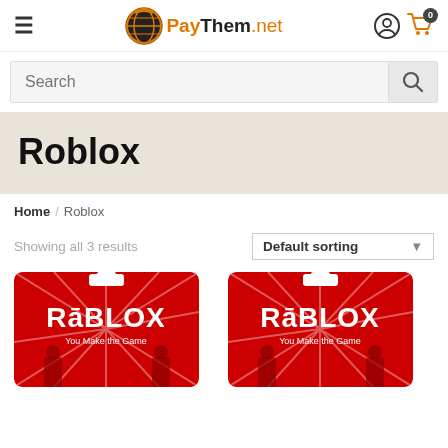PayThem.net — navigation header with hamburger menu, logo, user icon, and cart (0)
Search
Roblox
Home / Roblox
Showing all 3 results
Default sorting
[Figure (photo): Roblox gift card product image — red card with ROBLOX logo and 'You Make the Game' tagline]
[Figure (photo): Roblox gift card product image — red card with ROBLOX logo and 'You Make the Game' tagline]